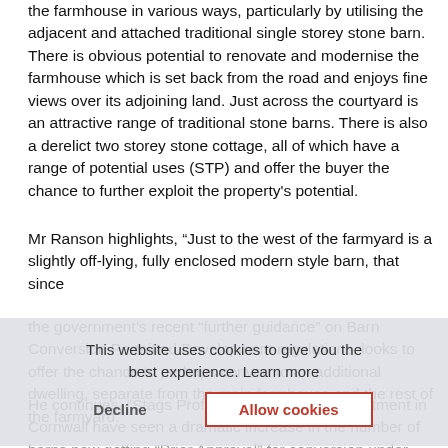the farmhouse in various ways, particularly by utilising the adjacent and attached traditional single storey stone barn. There is obvious potential to renovate and modernise the farmhouse which is set back from the road and enjoys fine views over its adjoining land. Just across the courtyard is an attractive range of traditional stone barns. There is also a derelict two storey stone cottage, all of which have a range of potential uses (STP) and offer the buyer the chance to further exploit the property's potential.
Mr Ranson highlights, “Just to the west of the farmyard is a slightly off-lying, fully enclosed modern style barn, that since the government’s recent “further guidance” on Barn Conversion Permitted Development regulations, looks to offer the chance to perhaps convert to an additional dwelling, separate from the main farmhouse and the rest of the farmyard.”
[Figure (other): Cookie consent overlay with text 'This website uses cookies to give you the best experience. Learn more' and two buttons: 'Decline' and 'Allow cookies' (red bordered)]
He continues, “Stags Professional Services Department in Cornwall have seen a dramatic increase in the number of barns now getting “Prior Approval” for conversion under